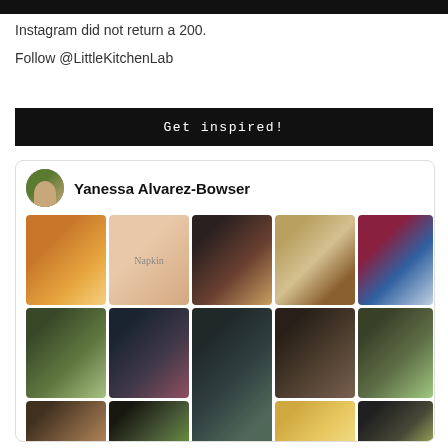[Figure (other): Black top bar/banner]
Instagram did not return a 200.
Follow @LittleKitchenLab
[Figure (other): Black button with white text: Get inspired!]
[Figure (other): Pinterest-style card showing profile of Yanessa Alvarez-Bowser with a grid of food photography images]